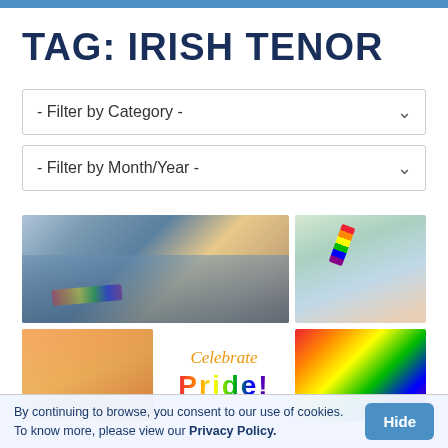TAG: IRISH TENOR
- Filter by Category -
- Filter by Month/Year -
[Figure (photo): Two photos of people with rainbow flag face paint/tattoos at a pride event]
[Figure (photo): Three images: person with tattoos near rainbow flag, Celebrate Pride text graphic, rainbow flag close-up]
By continuing to browse, you consent to our use of cookies. To know more, please view our Privacy Policy.